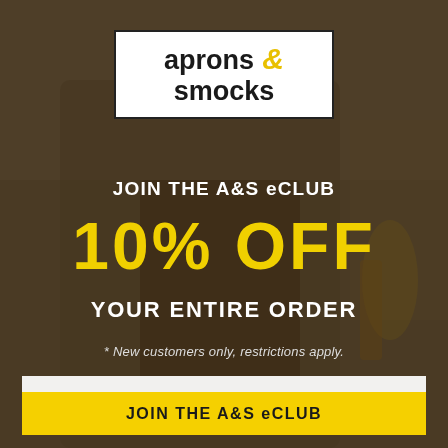[Figure (photo): Background photo of a person wearing an apron in a kitchen/store setting, dimmed with a dark overlay]
aprons & smocks
JOIN THE A&S eCLUB
10% OFF
YOUR ENTIRE ORDER
* New customers only, restrictions apply.
Enter your email address
JOIN THE A&S eCLUB